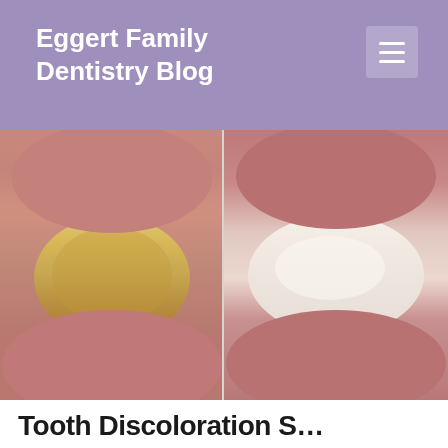Eggert Family Dentistry Blog
[Figure (photo): Before and after photo of teeth whitening — left side shows yellowed/stained teeth, right side shows bright white teeth, split down the middle with a vertical dividing line.]
Tooth Discoloration S…